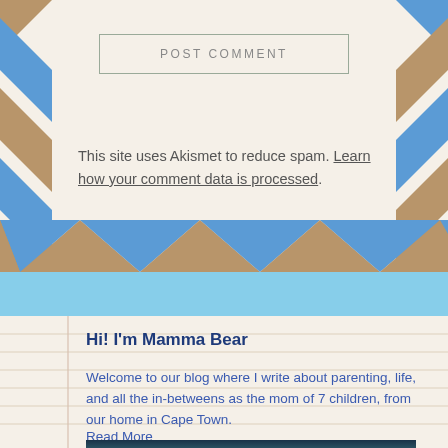POST COMMENT
This site uses Akismet to reduce spam. Learn how your comment data is processed.
Hi! I'm Mamma Bear
Welcome to our blog where I write about parenting, life, and all the in-betweens as the mom of 7 children, from our home in Cape Town.
Read More
[Figure (photo): Partially visible photo at the bottom of the page, dark teal/blue tones]